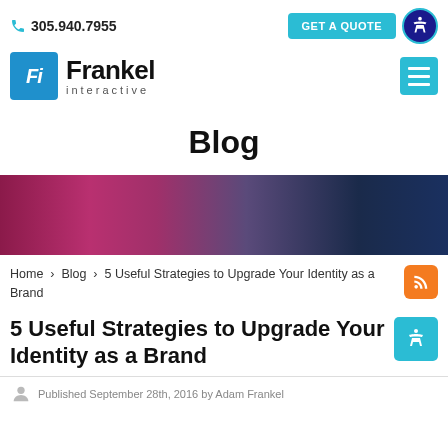305.940.7955 | GET A QUOTE
[Figure (logo): Frankel Interactive logo with Fi icon in blue square]
Blog
[Figure (photo): Hero banner image with dark red to dark blue gradient background]
Home › Blog › 5 Useful Strategies to Upgrade Your Identity as a Brand
5 Useful Strategies to Upgrade Your Identity as a Brand
Published September 28th, 2016 by Adam Frankel